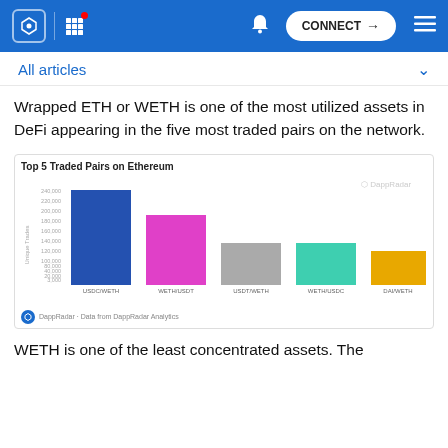Navigation bar with logo, grid menu, bell icon, CONNECT button, and hamburger menu
All articles
Wrapped ETH or WETH is one of the most utilized assets in DeFi appearing in the five most traded pairs on the network.
[Figure (bar-chart): Top 5 Traded Pairs on Ethereum]
WETH is one of the least concentrated assets. The